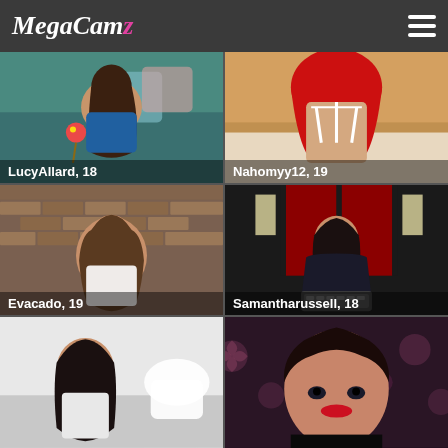MegaCamz
[Figure (photo): Young woman lying down holding a lollipop, wearing denim, teal sofa background. Label: LucyAllard, 18]
[Figure (photo): Person in red headscarf and white lingerie top, facing away, bedroom background. Label: Nahomyy12, 19]
[Figure (photo): Young woman with long wavy hair, white top, brick wall background. Label: Evacado, 19]
[Figure (photo): Woman in black leather jacket sitting on bed with red headboard, holding keyboard. Label: Samantharussell, 18]
[Figure (photo): Young woman with long dark hair, white background, partially visible.]
[Figure (photo): Young woman with dark hair, red lips, dark background with floral pattern, partially visible.]